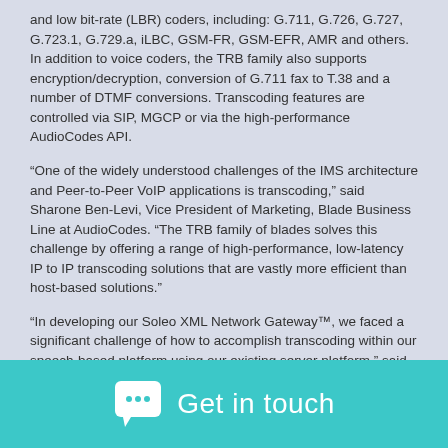and low bit-rate (LBR) coders, including:  G.711, G.726, G.727, G.723.1, G.729.a, iLBC, GSM-FR, GSM-EFR, AMR and others.  In addition to voice coders, the TRB family also supports encryption/decryption, conversion of G.711 fax to T.38 and a number of DTMF conversions. Transcoding features are controlled via SIP, MGCP or via the high-performance AudioCodes API.
“One of the widely understood challenges of the IMS architecture and Peer-to-Peer VoIP applications is transcoding,” said Sharone Ben-Levi, Vice President of Marketing, Blade Business Line at AudioCodes. “The TRB family of blades solves this challenge by offering a range of high-performance, low-latency IP to IP transcoding solutions that are vastly more efficient than host-based solutions.”
“In developing our Soleo XML Network Gateway™, we faced a significant challenge of how to accomplish transcoding within our speech-based platform using our existing server platform,” said Mike Thorp, Vice President & Chief Technical Officer at Soleo Communications, a supplier of platforms, applications, and professional services to Directory and Operator Services Providers.  “By integrating the AudioCodes IPmedia transcoding resources into the Soleo platform, we were able to solve our transcoding challenge and broaden our addressable market into a number of new wireline and wireless customers.”
Get in touch